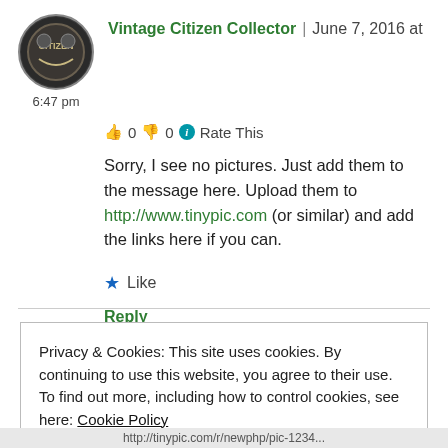Vintage Citizen Collector | June 7, 2016 at 6:47 pm
👍 0 👎 0 ℹ Rate This
Sorry, I see no pictures. Just add them to the message here. Upload them to http://www.tinypic.com (or similar) and add the links here if you can.
★ Like
Reply
Privacy & Cookies: This site uses cookies. By continuing to use this website, you agree to their use.
To find out more, including how to control cookies, see here: Cookie Policy
Close and accept
http://tinypic.com/r/newphp/pic-1234...